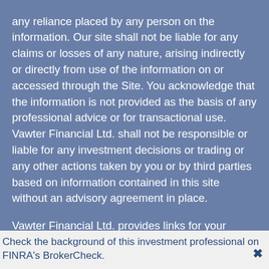any reliance placed by any person on the information. Our site shall not be liable for any claims or losses of any nature, arising indirectly or directly from use of the information on or accessed through the Site. You acknowledge that the information is not provided as the basis of any professional advice or for transactional use. Vawter Financial Ltd. shall not be responsible or liable for any investment decisions or trading or any other actions taken by you or by third parties based on information contained in this site without an advisory agreement in place.
Vawter Financial Ltd. provides links for your convenience to websites produced by other providers or industry related material. Accessing websites through
Check the background of this investment professional on FINRA's BrokerCheck.